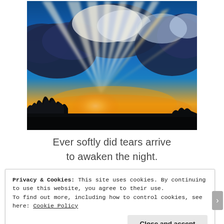[Figure (photo): A dramatic sunset/sunrise sky photograph showing golden sunbeams breaking through dark storm clouds against a deep blue sky, with silhouetted trees along the bottom horizon.]
Ever softly did tears arrive to awaken the night.
Privacy & Cookies: This site uses cookies. By continuing to use this website, you agree to their use.
To find out more, including how to control cookies, see here: Cookie Policy
Close and accept